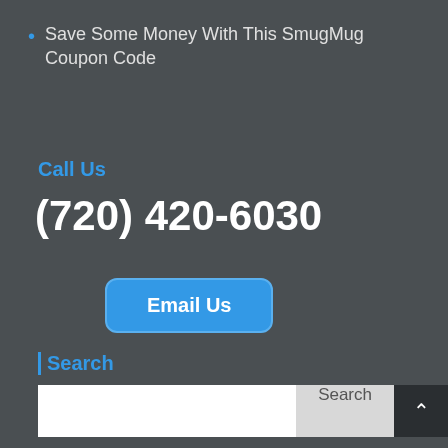Save Some Money With This SmugMug Coupon Code
Call Us
(720) 420-6030
Email Us
Search